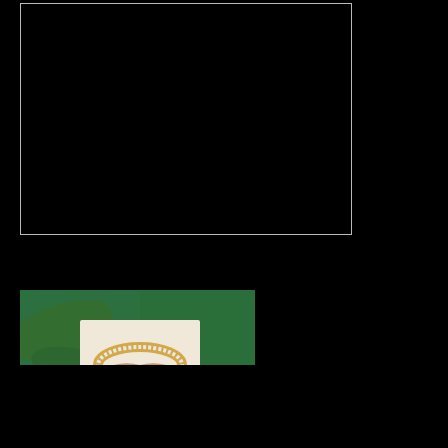[Figure (photo): Dark/black image area with a light border, appearing as a framed rectangular photo placeholder at the top-left of the page.]
[Figure (photo): Advertisement image showing hands holding a gold rhinestone bangle bracelet with dangling pearl earrings on a jewelry display, with tropical green leaf background. Below the photo is white text area with ad copy.]
Get $350 in Free Product!
BECOME A STYLIST
stella & dot